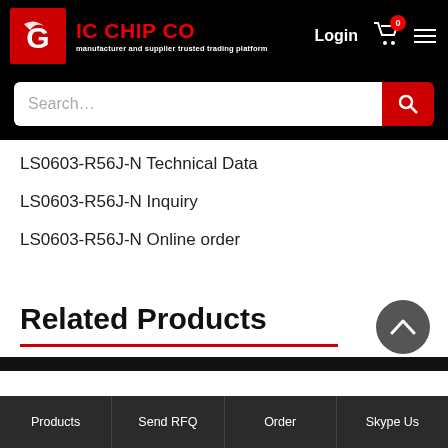[Figure (logo): IC CHIP CO logo with red eagle icon and tagline 'manufacturer and supplier trusted trading platform']
[Figure (screenshot): Search bar with placeholder text 'Search...' and red search button]
LS0603-R56J-N Technical Data
LS0603-R56J-N Inquiry
LS0603-R56J-N Online order
Related Products
Products | Send RFQ | Order | Skype Us